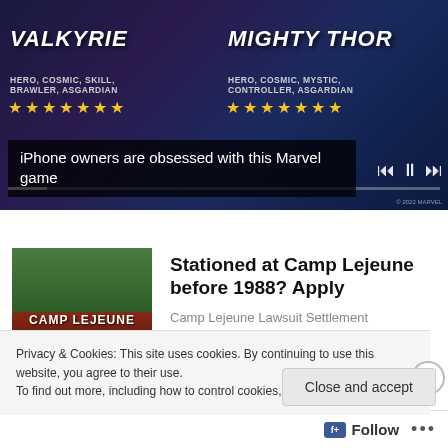[Figure (screenshot): Marvel game advertisement showing Valkyrie and Mighty Thor characters with star ratings and a progress bar. Valkyrie is labeled 'HERO, COSMIC, SKILL, BRAWLER, ASGARDIAN' and Mighty Thor is labeled 'HERO, COSMIC, MYSTIC, CONTROLLER, ASGARDIAN'. Both have 5-star ratings.]
iPhone owners are obsessed with this Marvel game
[Figure (photo): Photo of Camp Lejeune sign reading 'CAMP LEJEUNE HOME OF EXPEDITIONARY FORCES IN READINESS']
Stationed at Camp Lejeune before 1988? Apply
Camp Lejeune Lawsuit Settlement
Privacy & Cookies: This site uses cookies. By continuing to use this website, you agree to their use.
To find out more, including how to control cookies, see here: Cookie Policy
Close and accept
Follow ...